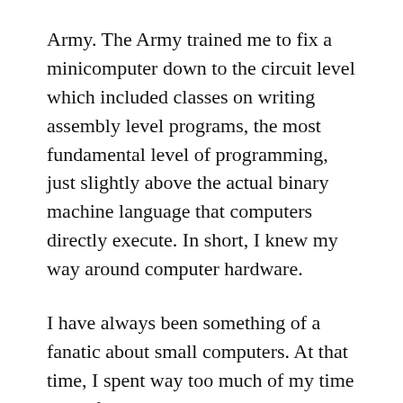Army. The Army trained me to fix a minicomputer down to the circuit level which included classes on writing assembly level programs, the most fundamental level of programming, just slightly above the actual binary machine language that computers directly execute. In short, I knew my way around computer hardware.
I have always been something of a fanatic about small computers. At that time, I spent way too much of my time away from work reading about computers and teaching myself how to program in the various higher level computer languages that were being introduced all the time. Although I didn't have